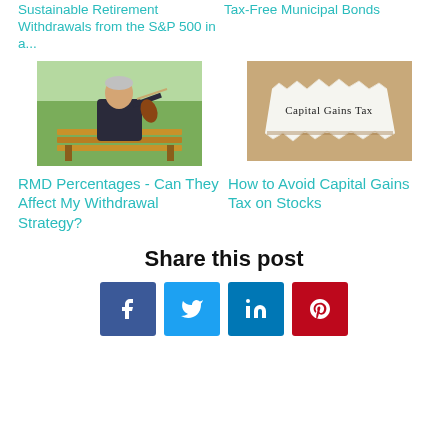Sustainable Retirement Withdrawals from the S&P 500 in a...
Tax-Free Municipal Bonds
[Figure (photo): Older man playing violin while sitting on a park bench outdoors]
[Figure (photo): Torn paper effect revealing text 'Capital Gains Tax' on beige/kraft paper background]
RMD Percentages - Can They Affect My Withdrawal Strategy?
How to Avoid Capital Gains Tax on Stocks
Share this post
Facebook share button
Twitter share button
LinkedIn share button
Pinterest share button